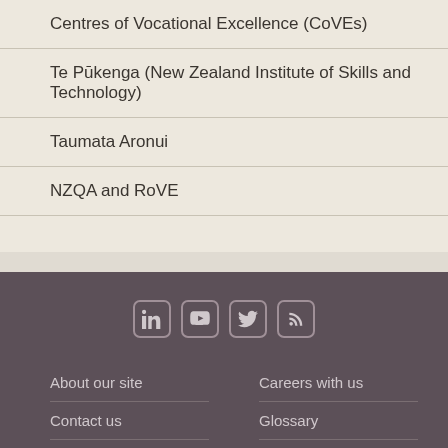Centres of Vocational Excellence (CoVEs)
Te Pūkenga (New Zealand Institute of Skills and Technology)
Taumata Aronui
NZQA and RoVE
[Figure (infographic): Social media icons: LinkedIn, YouTube, Twitter, RSS feed]
About our site | Careers with us | Contact us | Glossary